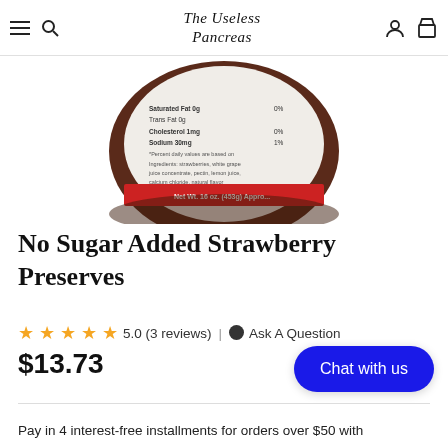The Useless Pancreas
[Figure (photo): Bottom of a jam jar showing nutrition facts label with red stripe and text 'Net Wt. 16 oz. (453g) Approx.' Ingredients listed include strawberries, grape juice, fruit pectin, lemon juice, calcium chloride.]
No Sugar Added Strawberry Preserves
5.0 (3 reviews) | Ask A Question
$13.73
Chat with us
Pay in 4 interest-free installments for orders over $50 with